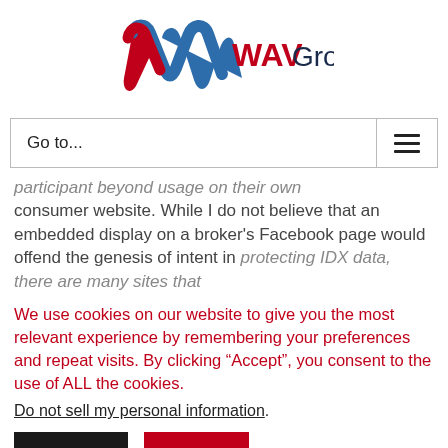[Figure (logo): WAV Group logo with stylized blue and red ribbon/wave shape and text 'WAVGroup' in dark navy and red]
Go to...
participant beyond usage on their own consumer website. While I do not believe that an embedded display on a broker's Facebook page would offend the genesis of intent in protecting IDX data, there are many sites that
We use cookies on our website to give you the most relevant experience by remembering your preferences and repeat visits. By clicking “Accept”, you consent to the use of ALL the cookies.
Do not sell my personal information.
Settings
Accept